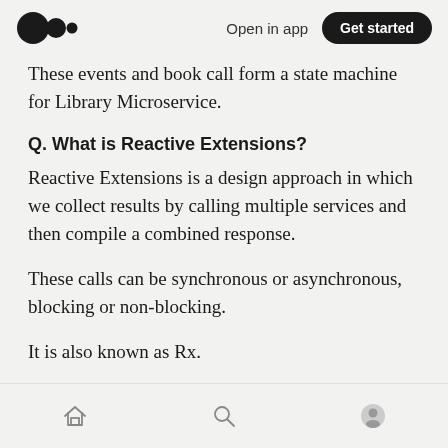Medium logo | Open in app | Get started
These events and book call form a state machine for Library Microservice.
Q. What is Reactive Extensions?
Reactive Extensions is a design approach in which we collect results by calling multiple services and then compile a combined response.
These calls can be synchronous or asynchronous, blocking or non-blocking.
It is also known as Rx.
Rx works opposite to long flows. It is very
Home | Search | Profile